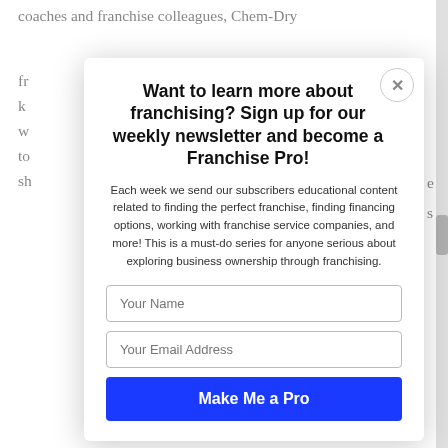coaches and franchise colleagues, Chem-Dry
fr
k
w
to
sh
I
C
T
m
a
e
is
[Figure (screenshot): Newsletter signup modal overlay with title 'Want to learn more about franchising? Sign up for our weekly newsletter and become a Franchise Pro!', descriptive body text, Your Name input field, Your Email Address input field, and a blue 'Make Me a Pro' button. A close (X) button is in the top right corner of the modal.]